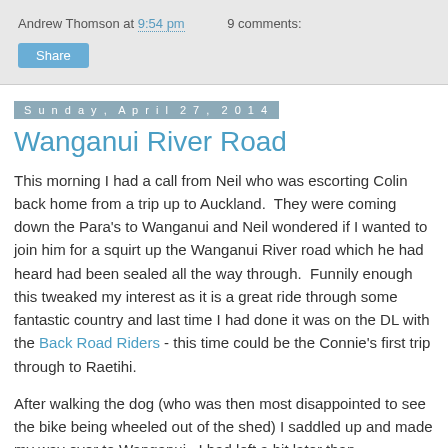Andrew Thomson at 9:54 pm   9 comments:
Share
Sunday, April 27, 2014
Wanganui River Road
This morning I had a call from Neil who was escorting Colin back home from a trip up to Auckland.  They were coming down the Para's to Wanganui and Neil wondered if I wanted to join him for a squirt up the Wanganui River road which he had heard had been sealed all the way through.  Funnily enough this tweaked my interest as it is a great ride through some fantastic country and last time I had done it was on the DL with the Back Road Riders - this time could be the Connie's first trip through to Raetihi.
After walking the dog (who was then most disappointed to see the bike being wheeled out of the shed) I saddled up and made my way over to Wanganui.  I had left a bit later than